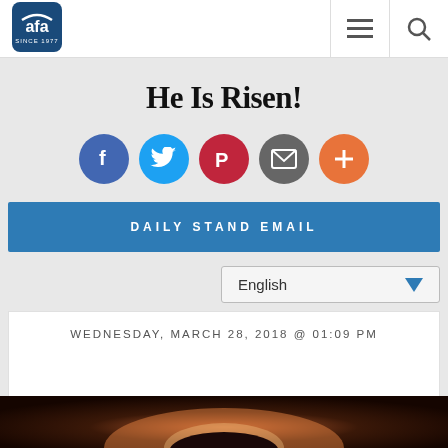[Figure (logo): AFA (American Family Association) logo - blue rounded square with 'afa' text and 'since 1977' below]
He Is Risen!
[Figure (infographic): Row of 5 social sharing icons: Facebook (blue), Twitter (light blue), Parler (red), Email (gray), Plus/More (orange)]
DAILY STAND EMAIL
English
WEDNESDAY, MARCH 28, 2018 @ 01:09 PM
[Figure (photo): Partial image at bottom - appears to be a person silhouetted against a warm orange/pink sky]